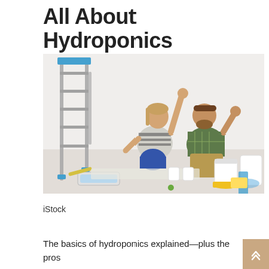All About Hydroponics
September 21, 2021  Nancy McConnell
[Figure (photo): A man and woman sitting on the floor of a room being painted, surrounded by paint cans, a paint roller tray, and a step ladder. The woman is raising one hand as if measuring something on the wall. Paint cans with blue and yellow paint are visible to the right.]
iStock
The basics of hydroponics explained—plus the pros